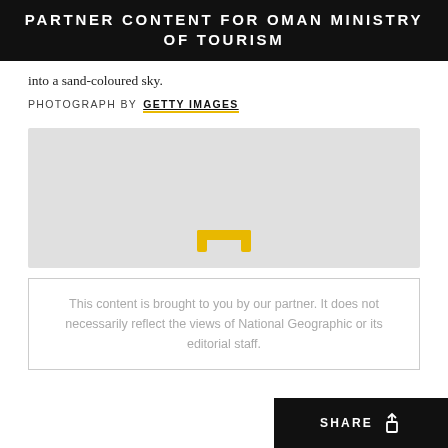PARTNER CONTENT FOR OMAN MINISTRY OF TOURISM
into a sand-coloured sky.
PHOTOGRAPH BY GETTY IMAGES
[Figure (photo): Gray placeholder image with a yellow broken-arch icon at the bottom center, representing a loading or unavailable photo]
This content is brought to you by our partner. It does not necessarily reflect the views of National Geographic or its editorial staff.